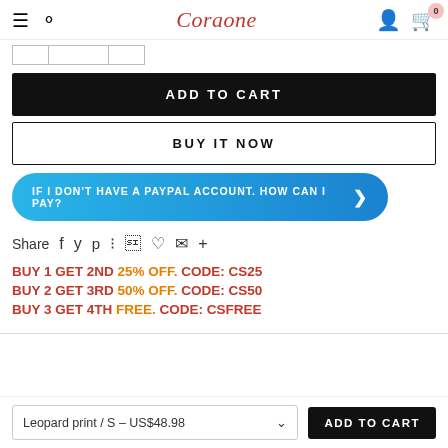Coraone
ADD TO CART
BUY IT NOW
IF I DON'T HAVE A PAYPAL ACCOUNT. HOW CAN I PAY?
Share
BUY 1 GET 2ND 25% OFF. CODE: CS25
BUY 2 GET 3RD 50% OFF. CODE: CS50
BUY 3 GET 4TH FREE. CODE: CSFREE
Leopard print / S – US$48.98  ADD TO CART